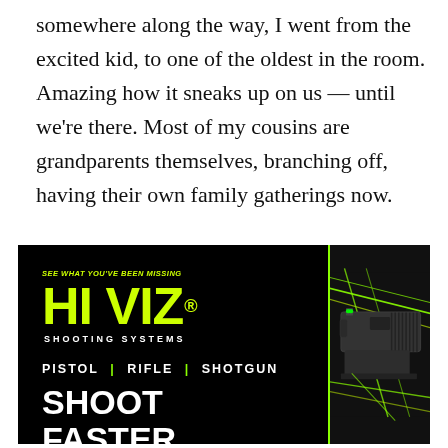somewhere along the way, I went from the excited kid, to one of the oldest in the room. Amazing how it sneaks up on us — until we're there. Most of my cousins are grandparents themselves, branching off, having their own family gatherings now.
[Figure (photo): HIVIZ Shooting Systems advertisement on black background. Left side shows HIVIZ logo in bright yellow-green with tagline 'SEE WHAT YOU'VE BEEN MISSING' and 'SHOOTING SYSTEMS', categories 'PISTOL | RIFLE | SHOTGUN', and bold white text 'SHOOT FASTER.' Right side shows a close-up photo of a pistol slide with green fiber optic sights and bright green laser lines.]